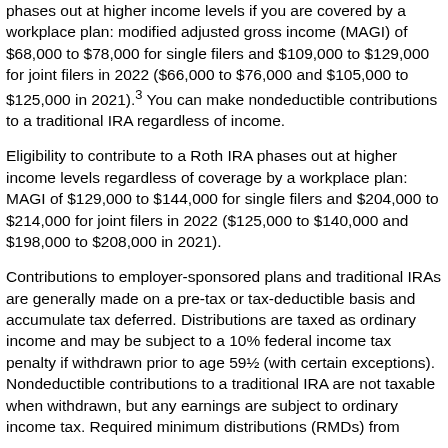phases out at higher income levels if you are covered by a workplace plan: modified adjusted gross income (MAGI) of $68,000 to $78,000 for single filers and $109,000 to $129,000 for joint filers in 2022 ($66,000 to $76,000 and $105,000 to $125,000 in 2021).³ You can make nondeductible contributions to a traditional IRA regardless of income.
Eligibility to contribute to a Roth IRA phases out at higher income levels regardless of coverage by a workplace plan: MAGI of $129,000 to $144,000 for single filers and $204,000 to $214,000 for joint filers in 2022 ($125,000 to $140,000 and $198,000 to $208,000 in 2021).
Contributions to employer-sponsored plans and traditional IRAs are generally made on a pre-tax or tax-deductible basis and accumulate tax deferred. Distributions are taxed as ordinary income and may be subject to a 10% federal income tax penalty if withdrawn prior to age 59½ (with certain exceptions). Nondeductible contributions to a traditional IRA are not taxable when withdrawn, but any earnings are subject to ordinary income tax. Required minimum distributions (RMDs) from